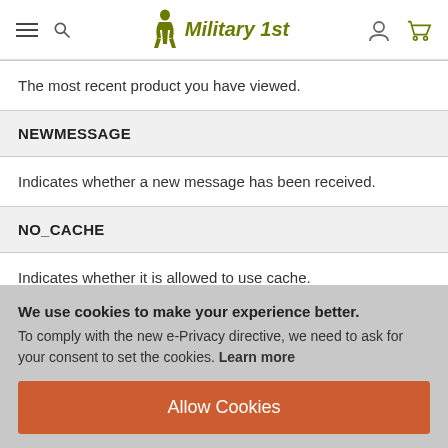Military 1st
The most recent product you have viewed.
NEWMESSAGE
Indicates whether a new message has been received.
NO_CACHE
Indicates whether it is allowed to use cache.
PERSISTENT_SHOPPING_CART
We use cookies to make your experience better. To comply with the new e-Privacy directive, we need to ask for your consent to set the cookies. Learn more
Allow Cookies